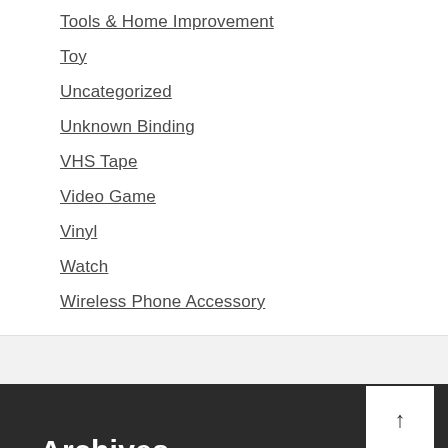Tools & Home Improvement
Toy
Uncategorized
Unknown Binding
VHS Tape
Video Game
Vinyl
Watch
Wireless Phone Accessory
Archives